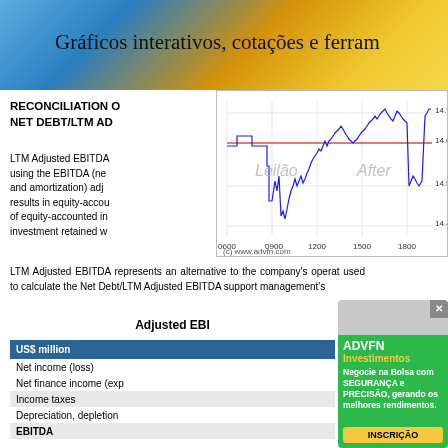Gráficos interativos, cotações e ferram
RECONCILIATION OF
NET DEBT/LTM AD
LTM Adjusted EBITDA using the EBITDA (net and amortization) adj results in equity-accou of equity-accounted in investment retained w
[Figure (continuous-plot): Intraday stock price chart showing price movement from 0600 to 1800, with a horizontal red reference line at ~14.6. Price ranges from ~14.4 to ~14.7. Labels 'Leilão' and 'After' visible. Source: (c) www.advfn.com]
LTM Adjusted EBITDA represents an alternative to the company's operat used to calculate the Net Debt/LTM Adjusted EBITDA support management's
Adjusted EBI
| US$ million |
| --- |
| Net income (loss) |
| Net finance income (exp |
| Income taxes |
| Depreciation, depletion |
| EBITDA |
[Figure (screenshot): ADVFN Investimentos advertisement: 'Negocie na Bolsa com SEGURANÇA e PRECISÃO, gerando os melhores rendimentos.' with INSCRIÇÃO button]